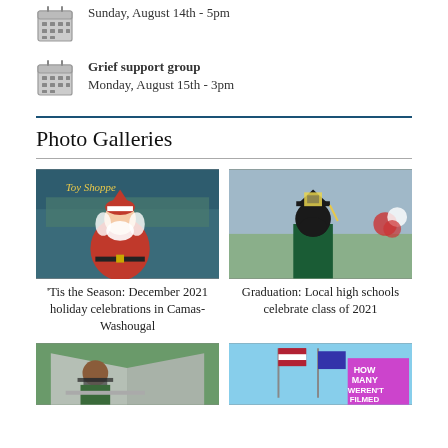Sunday, August 14th - 5pm
Grief support group
Monday, August 15th - 3pm
Photo Galleries
[Figure (photo): Santa Claus seated in front of a Toy Shoppe holiday backdrop]
'Tis the Season: December 2021 holiday celebrations in Camas-Washougal
[Figure (photo): Graduation ceremony, student seen from behind wearing cap and gown]
Graduation: Local high schools celebrate class of 2021
[Figure (photo): Person wearing mask at an outdoor event under a tent]
[Figure (photo): Flags and a sign reading HOW MANY WEREN'T FILMED]